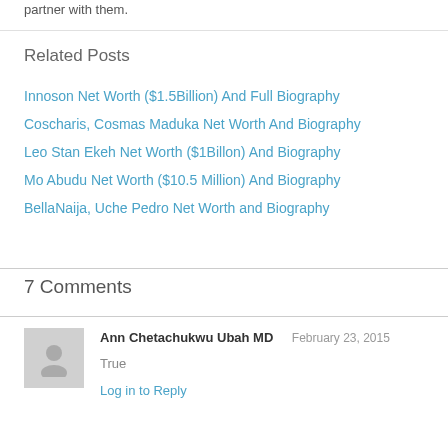partner with them.
Related Posts
Innoson Net Worth ($1.5Billion) And Full Biography
Coscharis, Cosmas Maduka Net Worth And Biography
Leo Stan Ekeh Net Worth ($1Billon) And Biography
Mo Abudu Net Worth ($10.5 Million) And Biography
BellaNaija, Uche Pedro Net Worth and Biography
7 Comments
Ann Chetachukwu Ubah MD  February 23, 2015
True
Log in to Reply